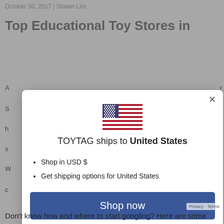October 30, 2017 | Shawn Lim
Top Educational Toy Stores in
[Figure (screenshot): Modal dialog overlay on a webpage. Contains a US flag icon, text 'TOYTAG ships to United States', bullet points listing 'Shop in USD $' and 'Get shipping options for United States', a blue 'Shop now' button, and a 'Change shipping country' underlined link. An X close button is in the top right corner of the modal.]
Don't know how and where to start googling? Here are some